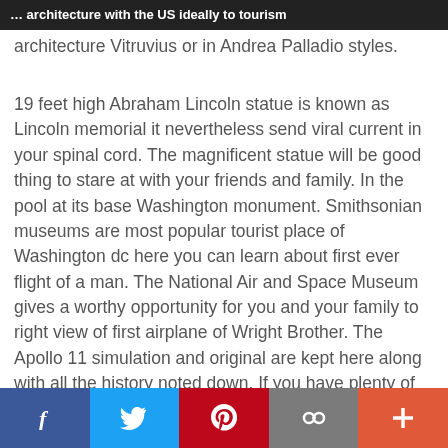… architecture with the US ideally to tourism architecture Vitruvius or in Andrea Palladio styles.
19 feet high Abraham Lincoln statue is known as Lincoln memorial it nevertheless send viral current in your spinal cord. The magnificent statue will be good thing to stare at with your friends and family. In the pool at its base Washington monument. Smithsonian museums are most popular tourist place of Washington dc here you can learn about first ever flight of a man. The National Air and Space Museum gives a worthy opportunity for you and your family to right view of first airplane of Wright Brother. The Apollo 11 simulation and original are kept here along with all the history noted down. If you have plenty of time do visit Albert Einstein Planetarium or let your kids lay a hand on moon rock the actual one indeed. National gallery of art own huge collection of…
f  Twitter  Pinterest  Share  +